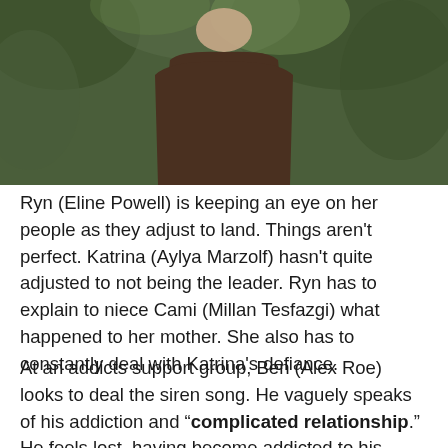[Figure (photo): A person with dark hair wearing a dark brown t-shirt, photographed outdoors with blurred green foliage in the background. Only the torso and lower face/neck are visible.]
Ryn (Eline Powell) is keeping an eye on her people as they adjust to land. Things aren't perfect. Katrina (Aylya Marzolf) hasn't quite adjusted to not being the leader. Ryn has to explain to niece Cami (Millan Tesfazgi) what happened to her mother. She also has to constantly deal with Katrina's defiance.
At an addicts support group, Ben (Alex Roe) looks to deal the siren song. He vaguely speaks of his addiction and "complicated relationship." He feels lost, having become addicted to his relationship with Ryn alongside his existing relationship with Maddie (Fola Evans-Akingbola). He's not sure if the song is what draws him to Ryn, or if it's a genuine connection. We also see Susan (Garcelle